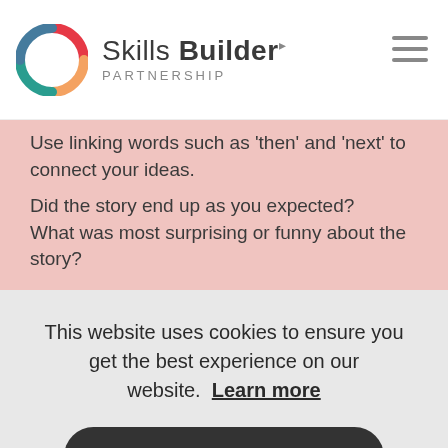Skills Builder PARTNERSHIP
Use linking words such as 'then' and 'next' to connect your ideas.
Did the story end up as you expected?
What was most surprising or funny about the story?
Reflection Questions
Getting Started: How do we know if
This website uses cookies to ensure you get the best experience on our website. Learn more
Got it!
speaking engaging?